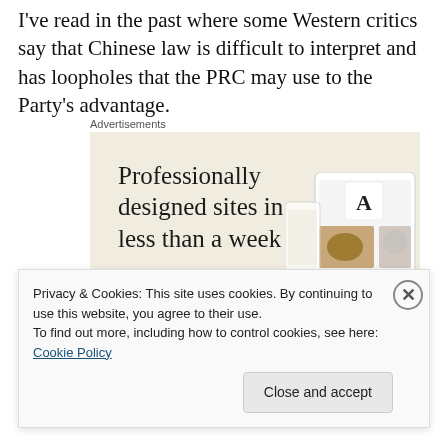I've read in the past where some Western critics say that Chinese law is difficult to interpret and has loopholes that the PRC may use to the Party's advantage.
Advertisements
[Figure (illustration): Advertisement for a website design service. Beige background with text 'Professionally designed sites in less than a week', a green 'Explore options' button, and mockup images of website screens on the right side.]
Privacy & Cookies: This site uses cookies. By continuing to use this website, you agree to their use.
To find out more, including how to control cookies, see here: Cookie Policy